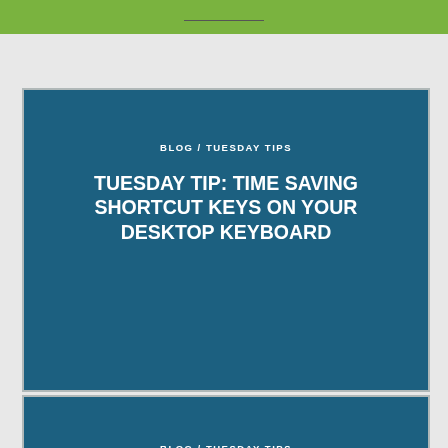[Figure (other): Blog card with teal/dark blue background showing category 'BLOG / TUESDAY TIPS' and title 'TUESDAY TIP: TIME SAVING SHORTCUT KEYS ON YOUR DESKTOP KEYBOARD']
[Figure (other): Blog card with teal/dark blue background showing category 'BLOG / TUESDAY TIPS' and partial title 'TUESDAY TIP: TAKE A TRIP BACK']